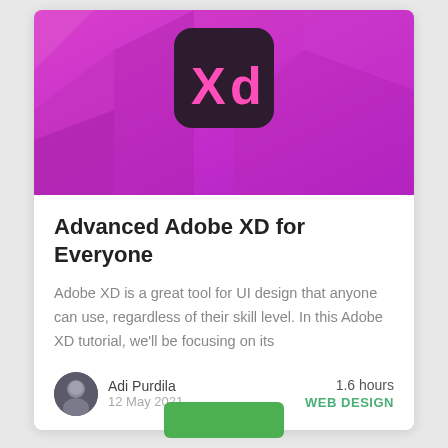[Figure (illustration): Adobe XD logo on a purple/magenta geometric background. Dark rounded-square icon with pink 'Xd' text centered on a vibrant purple background with geometric triangle shapes.]
Advanced Adobe XD for Everyone
Adobe XD is a great tool for UI design that anyone can use, regardless of their skill level. In this Adobe XD tutorial, we'll be focusing on its
Adi Purdila
12 May 2021
1.6 hours
WEB DESIGN